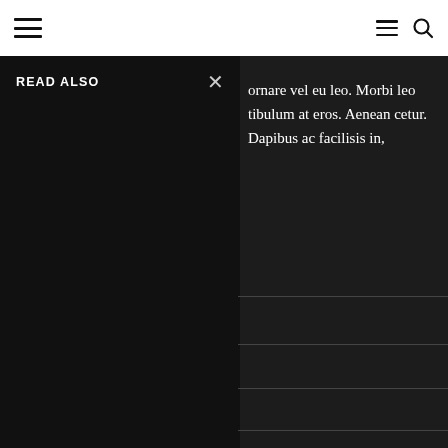Navigation bar with hamburger menu icon on left, and menu + search icons on right
READ ALSO
ornare vel eu leo. Morbi leo tibulum at eros. Aenean cetur. Dapibus ac facilisis in,